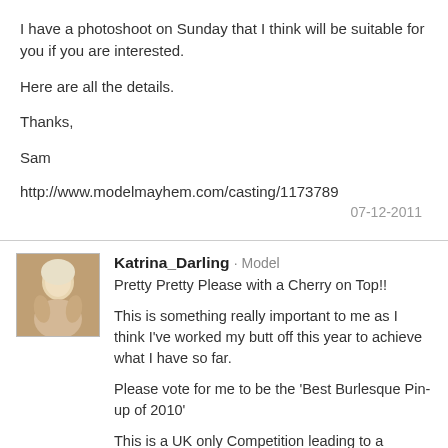I have a photoshoot on Sunday that I think will be suitable for you if you are interested.
Here are all the details.
Thanks,
Sam
http://www.modelmayhem.com/casting/1173789
07-12-2011
Katrina_Darling · Model
Pretty Pretty Please with a Cherry on Top!!
This is something really important to me as I think I've worked my butt off this year to achieve what I have so far.
Please vote for me to be the 'Best Burlesque Pin-up of 2010'
This is a UK only Competition leading to a Burlesque